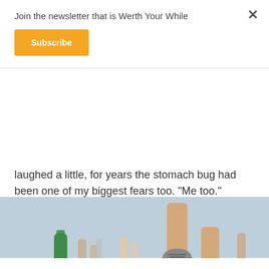Join the newsletter that is Werth Your While
Subscribe
laughed a little, for years the stomach bug had been one of my biggest fears too. "Me too."  Nobody likes being any kind of sick. . . . Continue reading
[Figure (photo): Running race photo showing multiple runners' legs and feet on road pavement, close-up view from ground level showing colorful running shoes]